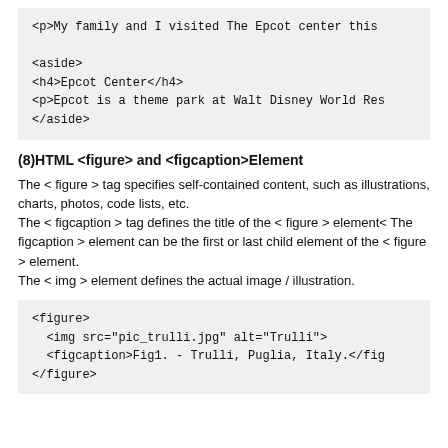[Figure (screenshot): Code block showing HTML snippet: <p>My family and I visited The Epcot center this, <aside>, <h4>Epcot Center</h4>, <p>Epcot is a theme park at Walt Disney World Res, </aside>]
(8)HTML <figure> and <figcaption>Element
The < figure > tag specifies self-contained content, such as illustrations, charts, photos, code lists, etc.
The < figcaption > tag defines the title of the < figure > element< The figcaption > element can be the first or last child element of the < figure > element.
The < img > element defines the actual image / illustration.
[Figure (screenshot): Code block showing HTML snippet: <figure>, <img src="pic_trulli.jpg" alt="Trulli">, <figcaption>Fig1. - Trulli, Puglia, Italy.</fig, </figure>]